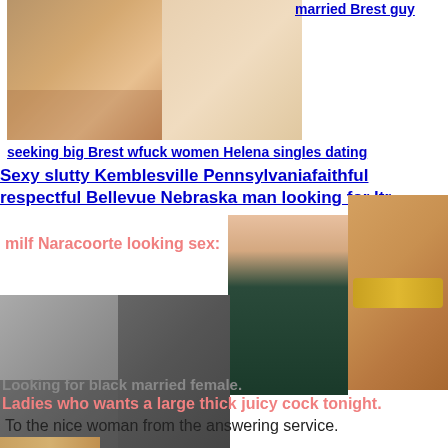[Figure (photo): Two women in revealing clothing, cropped torso shots]
married Brest guy
seeking big Brest wfuck women Helena singles dating
Sexy slutty Kemblesville Pennsylvaniafaithful respectful Bellevue Nebraska man looking for ltr
milf Naracoorte looking sex:
[Figure (photo): Close up of woman in dark bikini bottoms]
[Figure (photo): Woman's midsection with gold chain belt]
[Figure (photo): Two images: woman in maid costume and couple kissing]
Looking for black married female.
Ladies who wants a large thick juicy cock tonight.
To the nice woman from the answering service.
[Figure (photo): Partial image of person at bottom of page]